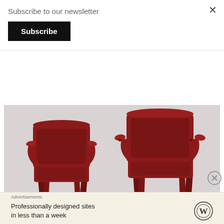Subscribe to our newsletter
Subscribe
[Figure (photo): Two dark red/burgundy leather armchairs photographed against a light grey background, shown from slightly different angles. The chairs have a distinctive mid-century modern style with splayed legs.]
Ignazio Gardella began working on architectural projects in Alessandria in 1929, including the Dispensario
Advertisements
Professionally designed sites in less than a week